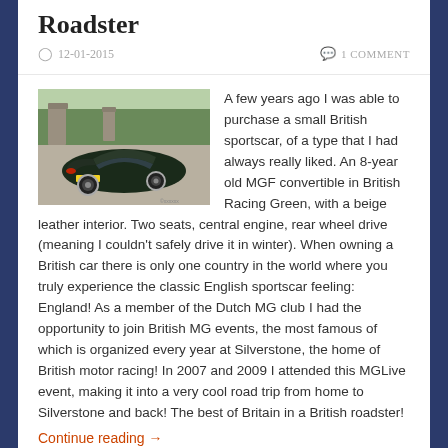Roadster
12-01-2015   1 COMMENT
[Figure (photo): A dark green MGF convertible sports car photographed from the rear-left, parked on a gravel driveway with stone gate pillars and trees in the background.]
A few years ago I was able to purchase a small British sportscar, of a type that I had always really liked. An 8-year old MGF convertible in British Racing Green, with a beige leather interior. Two seats, central engine, rear wheel drive (meaning I couldn't safely drive it in winter). When owning a British car there is only one country in the world where you truly experience the classic English sportscar feeling: England! As a member of the Dutch MG club I had the opportunity to join British MG events, the most famous of which is organized every year at Silverstone, the home of British motor racing! In 2007 and 2009 I attended this MGLive event, making it into a very cool road trip from home to Silverstone and back! The best of Britain in a British roadster!
Continue reading →